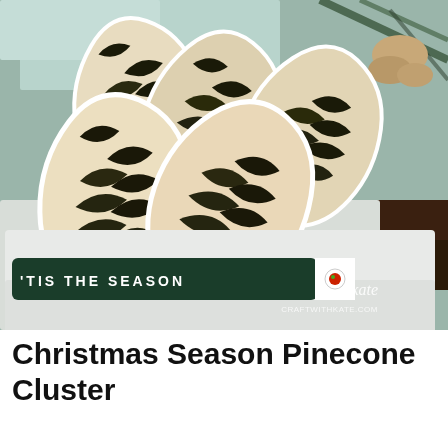[Figure (photo): Close-up photo of handmade Christmas craft featuring multiple stamped pinecone clusters arranged in a pile, with tan/beige background and dark brown stamped pinecone scale patterns. Each pinecone is die-cut with a white border. A dark green rectangular tag reads 'TIS THE SEASON' in white capital letters with a circular hole punch. Background shows a Christmas-themed paper with real pinecones and pine branches. A watermark reads 'kate' and 'CRAFTWITHKATE.COM' in the bottom right corner.]
Christmas Season Pinecone Cluster